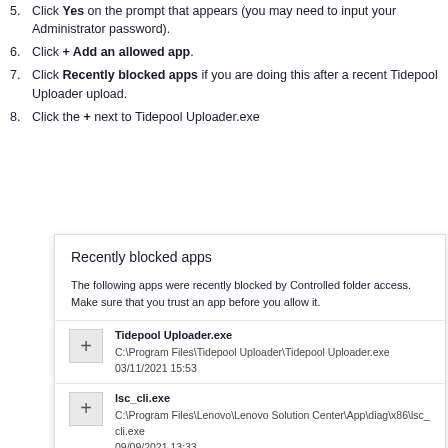5. Click Yes on the prompt that appears (you may need to input your Administrator password).
6. Click + Add an allowed app.
7. Click Recently blocked apps if you are doing this after a recent Tidepool Uploader upload.
8. Click the + next to Tidepool Uploader.exe
[Figure (screenshot): Windows Security dialog showing 'Recently blocked apps' panel with two entries: Tidepool Uploader.exe (C:\Program Files\Tidepool Uploader\Tidepool Uploader.exe, 03/11/2021 15:53) and lsc_cli.exe (C:\Program Files\Lenovo\Lenovo Solution Center\App\diag\x86\lsc_cli.exe, 09/09/2021 13:33), with Browse all apps link and Close button at bottom.]